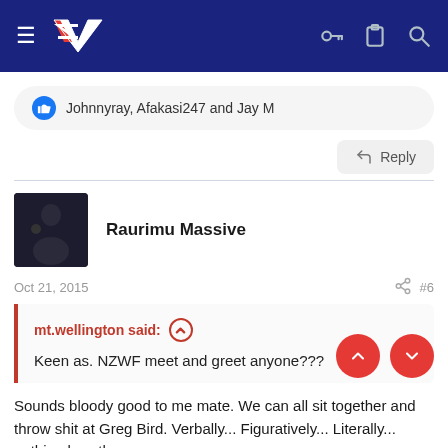NZ Warriors forum navigation bar
Johnnyray, Afakasi247 and Jay M
Reply
Raurimu Massive
Oct 21, 2015  #6
mt.wellington said:
Keen as. NZWF meet and greet anyone???
Sounds bloody good to me mate. We can all sit together and throw shit at Greg Bird. Verbally... Figuratively... Literally... nothing less than